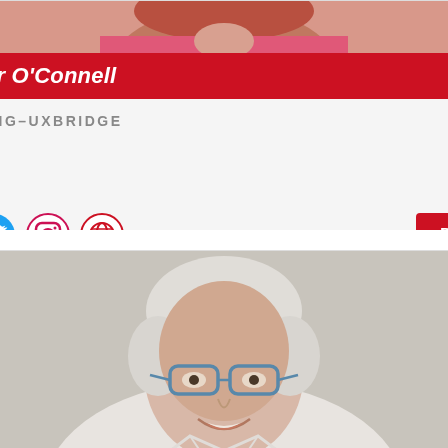[Figure (photo): Top partial photo of Jennifer O'Connell, woman with reddish hair wearing a pink/red top, cropped at shoulders]
Jennifer O'Connell
PICKERING–UXBRIDGE
[Figure (infographic): Social media icons row: Facebook, Twitter, Instagram, Globe/Website icons, followed by a red 'Dons →' button]
[Figure (photo): Bottom photo of an older man with white/grey hair and blue-framed glasses, smiling, wearing a white shirt, on a grey background]